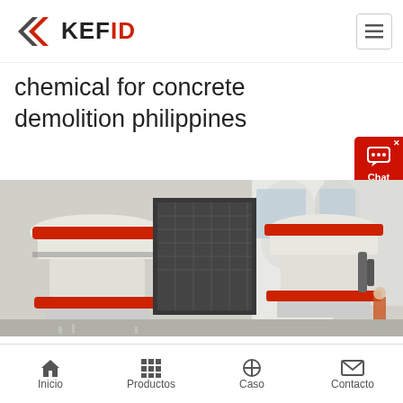[Figure (logo): KEFID company logo with left-pointing arrow chevrons in dark grey and red, followed by bold text KEFID where K-E are dark, F-I-D are red]
chemical for concrete demolition philippines
[Figure (photo): Industrial heavy machinery — large cone crushers/VSI sand-making machines in white with red accent rings, set inside a factory/plant environment with metal walkways and silos in the background]
Inicio   Productos   Caso   Contacto